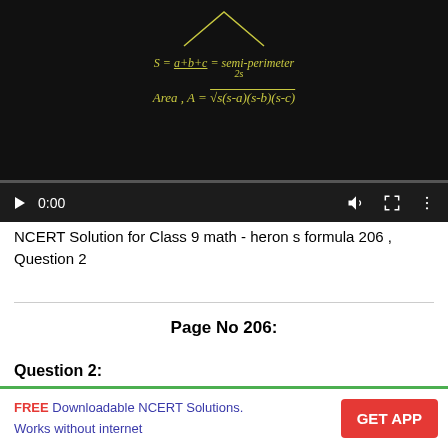[Figure (screenshot): Video player screenshot showing a blackboard with a triangle diagram and Heron's formula written in chalk. Controls bar shows play button, 0:00 timestamp, volume, fullscreen and options icons.]
NCERT Solution for Class 9 math - heron s formula 206 , Question 2
Page No 206:
Question 2:
FREE Downloadable NCERT Solutions. Works without internet
GET APP